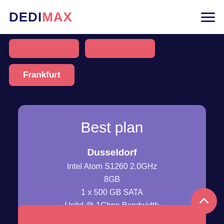DEDIMAX
Frankfurt
Best plan
Dusseldorf
Intel Atom S1260 2.0GHz
8GB
1 x 500 GB SATA
Unltd @ 1Gbps Bandwidth
19.99eur /mo